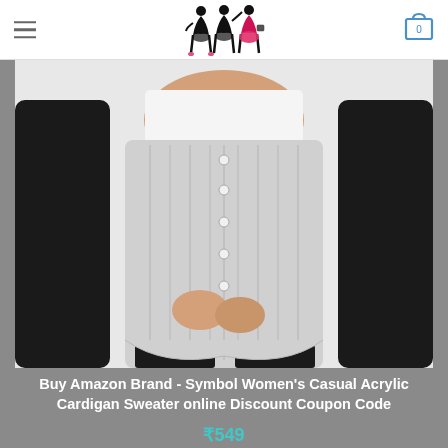Navigation header with hamburger menu, fashion logo, and cart icon (0 items)
[Figure (photo): A woman wearing a gray cable-knit button-front cardigan sweater over a black long-sleeve shirt, with black pants. The photo shows the torso and hands clasped together, from approximately the shoulders to the knees.]
Buy Amazon Brand - Symbol Women's Casual Acrylic Cardigan Sweater online Discount Coupon Code
₹549